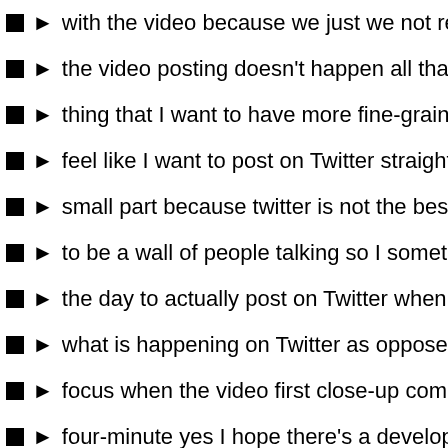with the video because we just we not really during the m...
the video posting doesn't happen all that often and that is th...
thing that I want to have more fine-grained control over I do...
feel like I want to post on Twitter straight away that the vide...
small part because twitter is not the best place to get feedba...
to be a wall of people talking so I sometimes wait until a little...
the day to actually post on Twitter when I can then pay a bit...
what is happening on Twitter as opposed to focusing on red...
focus when the video first close-up complain about it this an...
four-minute yes I hope there's a developer at if this and that...
right now i i don't understand why they don't yet have additio...
operators as part of if this thing that you know logic Mike no...